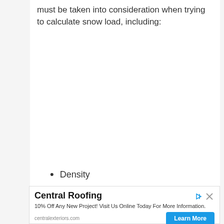must be taken into consideration when trying to calculate snow load, including:
Density
[Figure (other): Advertisement for Central Roofing / Central Exteriors. Headline: 'Central Roofing'. Body: '10% Off Any New Project! Visit Us Online Today For More Information.' URL: centralexteriors.com. Button: 'Learn More'.]